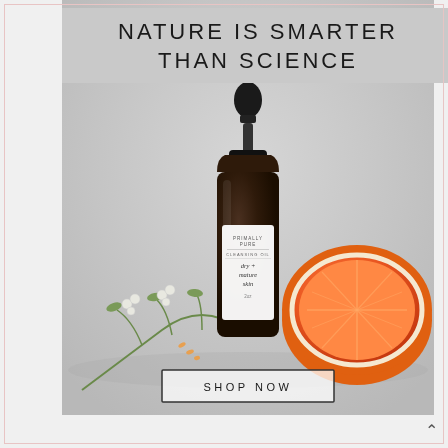NATURE IS SMARTER THAN SCIENCE
[Figure (photo): A dark amber glass dropper bottle labeled 'Primally Pure Cleansing Oil dry + mature skin' with a black rubber dropper top, styled with a sliced grapefruit half and a dried herb/flower sprig on a gray surface background.]
SHOP NOW